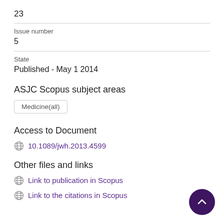23
Issue number
5
State
Published - May 1 2014
ASJC Scopus subject areas
Medicine(all)
Access to Document
10.1089/jwh.2013.4599
Other files and links
Link to publication in Scopus
Link to the citations in Scopus